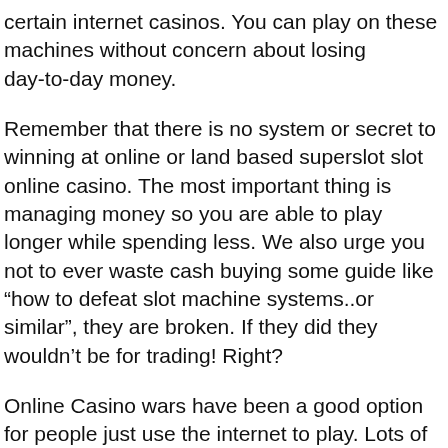certain internet casinos. You can play on these machines without concern about losing day-to-day money.
Remember that there is no system or secret to winning at online or land based superslot slot online casino. The most important thing is managing money so you are able to play longer while spending less. We also urge you not to ever waste cash buying some guide like “how to defeat slot machine systems..or similar”, they are broken. If they did they wouldn’t be for trading! Right?
Online Casino wars have been a good option for people just use the internet to play. Lots of things appear and vanish so significantly the video slot as they say technology advances.